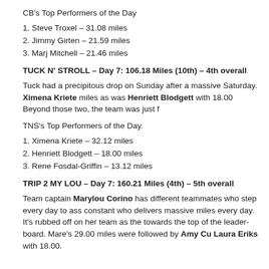CB's Top Performers of the Day
1. Steve Troxel – 31.08 miles
2. Jimmy Girten – 21.59 miles
3. Marj Mitchell – 21.46 miles
TUCK N' STROLL – Day 7: 106.18 Miles (10th) – 4th overall
Tuck had a precipitous drop on Sunday after a massive Saturday. Ximena Kriete miles as was Henriett Blodgett with 18.00 Beyond those two, the team was just f
TNS's Top Performers of the Day.
1. Ximena Kriete – 32.12 miles
2. Henriett Blodgett – 18.00 miles
3. Rene Fosdal-Griffin – 13.12 miles
TRIP 2 MY LOU – Day 7: 160.21 Miles (4th) – 5th overall
Team captain Marylou Corino has different teammates who step every day to ass constant who delivers massive miles every day. It's rubbed off on her team as the towards the top of the leader-board. Mare's 29.00 miles were followed by Amy Cu Laura Eriks with 18.00.